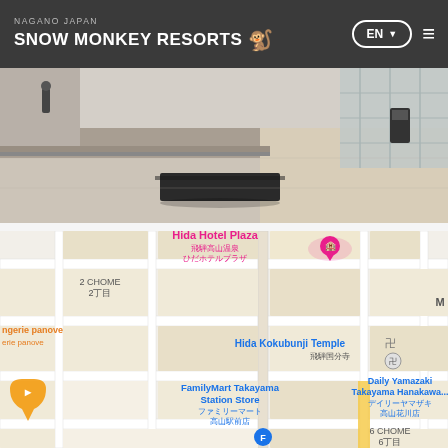NAGANO JAPAN SNOW MONKEY RESORTS
[Figure (photo): Exterior photo of a modern building plaza with stone pavement, a black rectangular bench/block in the center, glass facade and some people visible in background, taken in Japan (likely Takayama Station area).]
[Figure (map): Google Maps screenshot showing Takayama city area in Japan. Visible landmarks include: Hida Hotel Plaza (飛騨高山温泉 ひだホテルプラザ), 2 CHOME 2丁目, ngerie panove / erie panove, Hida Kokubunji Temple 飛騨国分寺, FamilyMart Takayama Station Store ファミリーマート 高山駅前店, Daily Yamazaki Takayama Hanakawa... デイリーヤマザキ 高山花川店, 6 CHOME 6丁目.]